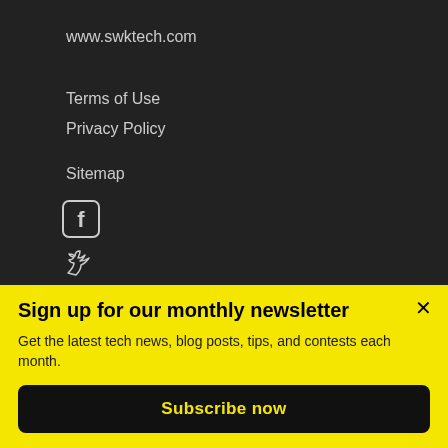www.swktech.com
Terms of Use
Privacy Policy
Sitemap
[Figure (illustration): Facebook icon (rounded square with F logo)]
[Figure (illustration): Twitter icon (bird logo)]
[Figure (illustration): LinkedIn icon (rounded square with in logo)]
Sign up for our monthly newsletter
Get the latest tech news, blog posts, tips, and contests each month.
Subscribe now